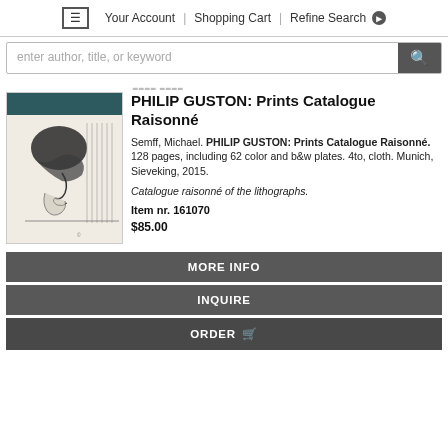≡  Your Account  |  Shopping Cart  |  Refine Search ▶
enter author, title, or keyword
[Figure (illustration): Book cover of PHILIP GUSTON: Prints Catalogue Raisonné showing a sketch-style illustration of a crouching figure with dark hair over an abstract scene, with a teal/dark header band at top]
PHILIP GUSTON: Prints Catalogue Raisonné
Semff, Michael. PHILIP GUSTON: Prints Catalogue Raisonné. 128 pages, including 62 color and b&w plates. 4to, cloth. Munich, Sieveking, 2015.
Catalogue raisonné of the lithographs.
Item nr. 161070
$85.00
MORE INFO
INQUIRE
ORDER